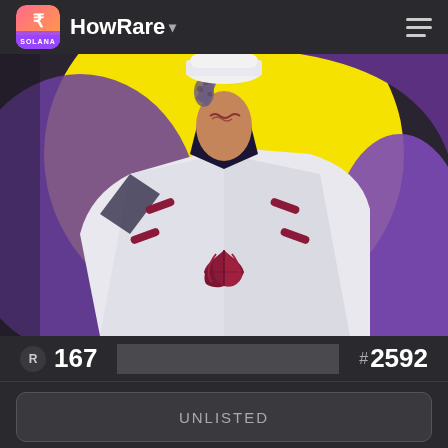HowRare
[Figure (illustration): Anime-style NFT artwork showing a character with white military-style jacket featuring red leaf emblem, partially visible face with reptilian skin texture, white cap, on a yellow and purple background.]
R 167
# 2592
UNLISTED
LAST ◎9.70